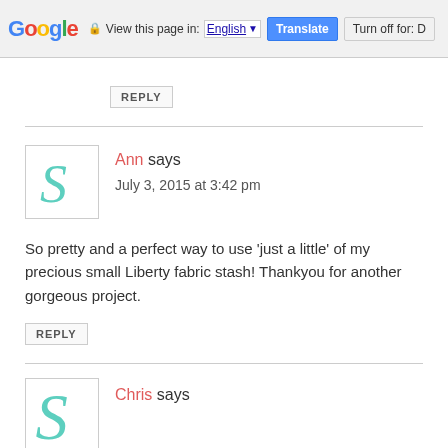[Figure (screenshot): Google Translate toolbar at top of browser page showing Google logo, lock icon, 'View this page in: English [dropdown] Translate | Turn off for: D']
REPLY
Ann says
July 3, 2015 at 3:42 pm
So pretty and a perfect way to use ‘just a little’ of my precious small Liberty fabric stash! Thankyou for another gorgeous project.
REPLY
Chris says